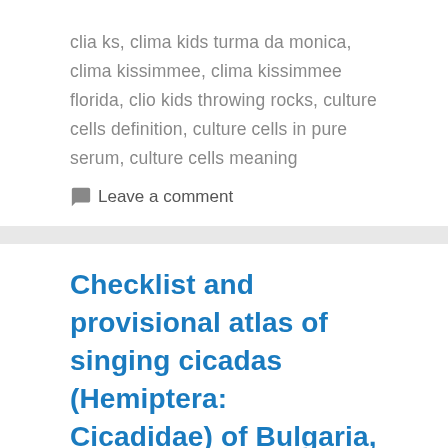clia ks, clima kids turma da monica, clima kissimmee, clima kissimmee florida, clio kids throwing rocks, culture cells definition, culture cells in pure serum, culture cells meaning
💬 Leave a comment
Checklist and provisional atlas of singing cicadas (Hemiptera: Cicadidae) of Bulgaria, based on bioacoustics
December 24, 2020 by Mariya